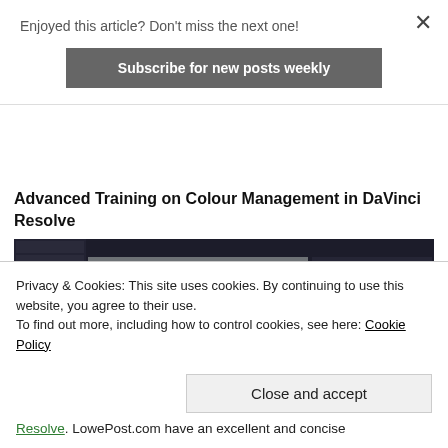Enjoyed this article? Don't miss the next one!
Subscribe for new posts weekly
Advanced Training on Colour Management in DaVinci Resolve
[Figure (screenshot): Screenshot of DaVinci Resolve color management interface showing a Venice canal image in the viewer with node graph and color controls panels]
Privacy & Cookies: This site uses cookies. By continuing to use this website, you agree to their use.
To find out more, including how to control cookies, see here: Cookie Policy
Close and accept
Resolve. LowePost.com have an excellent and concise